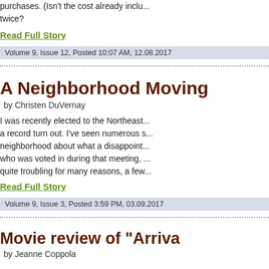purchases. (Isn't the cost already inclu... twice?
Read Full Story
Volume 9, Issue 12, Posted 10:07 AM, 12.08.2017
A Neighborhood Moving
by Christen DuVernay
I was recently elected to the Northeast... quite troubling for many reasons, a few...
Read Full Story
Volume 9, Issue 3, Posted 3:59 PM, 03.09.2017
Movie review of "Arriva
by Jeanne Coppola